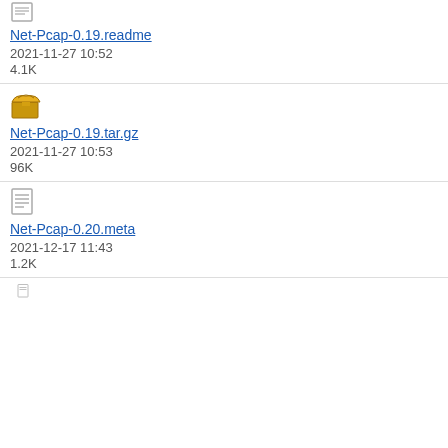[Figure (other): File icon for readme file (document icon, partially visible at top)]
Net-Pcap-0.19.readme
2021-11-27 10:52
4.1K
[Figure (other): File icon for tar.gz archive (open box/package icon)]
Net-Pcap-0.19.tar.gz
2021-11-27 10:53
96K
[Figure (other): File icon for meta file (text document icon)]
Net-Pcap-0.20.meta
2021-12-17 11:43
1.2K
[Figure (other): File icon partially visible at bottom]